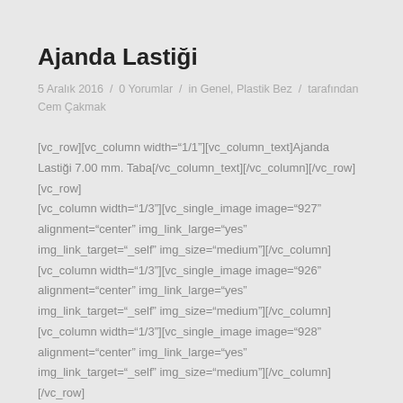Ajanda Lastiği
5 Aralık 2016  /  0 Yorumlar  /  in Genel, Plastik Bez  /  tarafından Cem Çakmak
[vc_row][vc_column width="1/1"][vc_column_text]Ajanda Lastiği 7.00 mm. Taba[/vc_column_text][/vc_column][/vc_row][vc_row][vc_column width="1/3"][vc_single_image image="927" alignment="center" img_link_large="yes" img_link_target="_self" img_size="medium"][/vc_column][vc_column width="1/3"][vc_single_image image="926" alignment="center" img_link_large="yes" img_link_target="_self" img_size="medium"][/vc_column][vc_column width="1/3"][vc_single_image image="928" alignment="center" img_link_large="yes" img_link_target="_self" img_size="medium"][/vc_column][/vc_row]